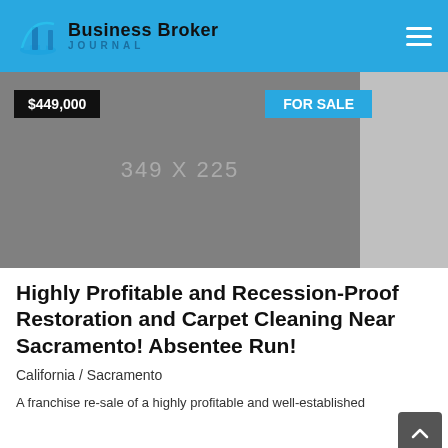Business Broker JOURNAL
[Figure (photo): Placeholder image 349 x 225 for a business listing, with price badge $449,000 and FOR SALE label]
Highly Profitable and Recession-Proof Restoration and Carpet Cleaning Near Sacramento! Absentee Run!
California / Sacramento
A franchise re-sale of a highly profitable and well-established